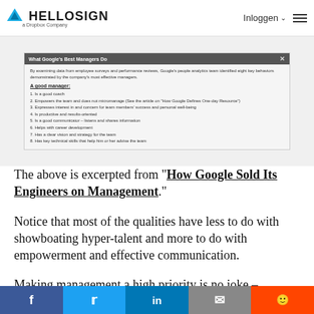HelloSign — a Dropbox Company | Inloggen | Menu
[Figure (screenshot): Screenshot of a Google infographic titled 'What Google's Best Managers Do', listing eight key behaviors of effective managers identified through employee surveys and performance reviews.]
The above is excerpted from "How Google Sold Its Engineers on Management."
Notice that most of the qualities have less to do with showboating hyper-talent and more to do with empowerment and effective communication.
Making management a high priority is no joke –
Social share bar: Facebook, Twitter, LinkedIn, Email, Reddit